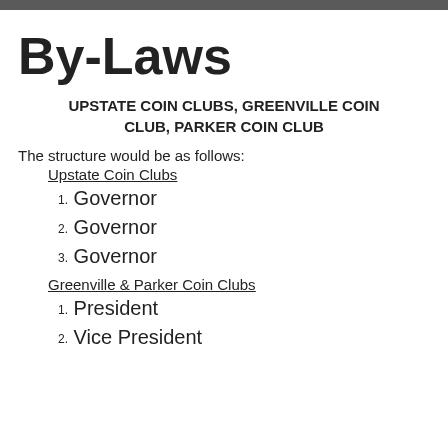By-Laws
UPSTATE COIN CLUBS, GREENVILLE COIN CLUB, PARKER COIN CLUB
The structure would be as follows:
Upstate Coin Clubs
1. Governor
2. Governor
3. Governor
Greenville & Parker Coin Clubs
1. President
2. Vice President